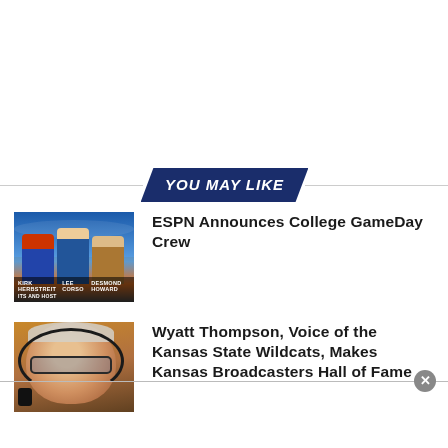YOU MAY LIKE
[Figure (photo): ESPN College GameDay crew photo showing three men in suits in front of a stadium]
ESPN Announces College GameDay Crew
[Figure (photo): Wyatt Thompson wearing headset and glasses, close-up portrait]
Wyatt Thompson, Voice of the Kansas State Wildcats, Makes Kansas Broadcasters Hall of Fame